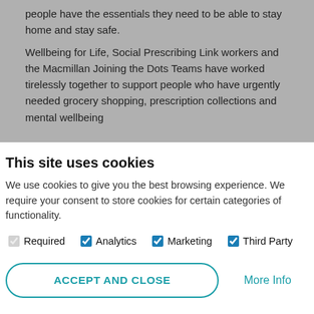people have the essentials they need to be able to stay home and stay safe.
Wellbeing for Life, Social Prescribing Link workers and the Macmillan Joining the Dots Teams have worked tirelessly together to support people who have urgently needed grocery shopping, prescription collections and mental wellbeing
This site uses cookies
We use cookies to give you the best browsing experience. We require your consent to store cookies for certain categories of functionality.
Required  Analytics  Marketing  Third Party
ACCEPT AND CLOSE    More Info